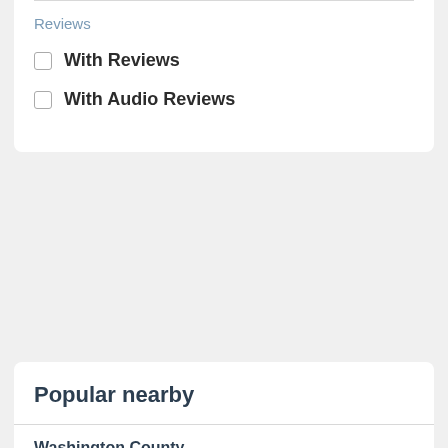Reviews
With Reviews
With Audio Reviews
Popular nearby
Washington County
Asian Restaurants
Associations
Fraternal Organizations
Social Service Organizations
Insurance Agencies
Window Treatment Stores
Consignment Shops